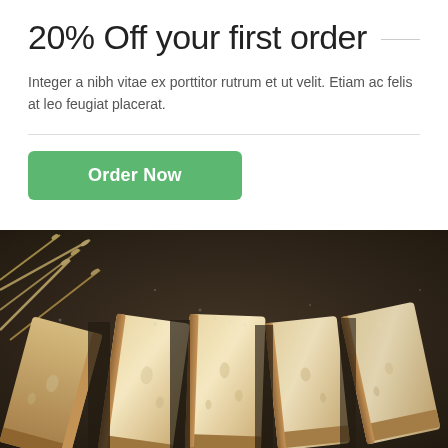20% Off your first order
Integer a nibh vitae ex porttitor rutrum et ut velit. Etiam ac felis at leo feugiat placerat.
[Figure (other): Green 'Order Now' button with rounded corners]
[Figure (photo): Dark overhead photo of sliced artisan bread loaves on a dark surface with sesame seeds, wheat stalks visible in upper left corner]